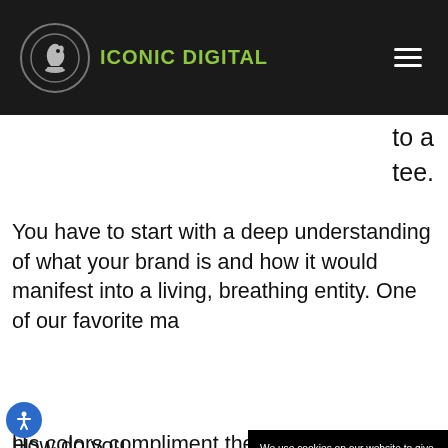[Figure (logo): Iconic Digital logo with chess knight icon in circle and green text]
to a
tee.
You have to start with a deep understanding of what your brand is and how it would manifest into a living, breathing entity. One of our favorite ma...
How do you... ask? Well th... of Delaware... and his gam... down the co... hockey team... approachab... his colors compliment the Walleye team colors
We use cookies on our website to give you the most relevant experience by remembering your preferences and repeat visits. By clicking “Accept”, you consent to the use of ALL the cookies.
Cookie Settings
Accept All